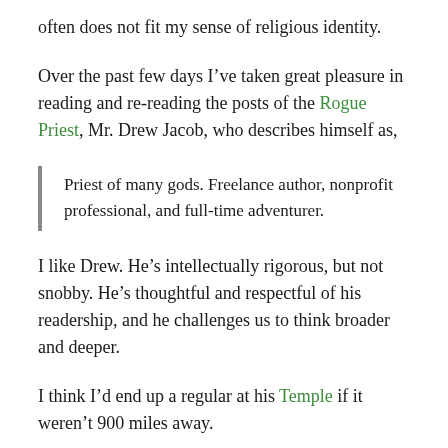often does not fit my sense of religious identity.
Over the past few days I’ve taken great pleasure in reading and re-reading the posts of the Rogue Priest, Mr. Drew Jacob, who describes himself as,
Priest of many gods. Freelance author, nonprofit professional, and full-time adventurer.
I like Drew. He’s intellectually rigorous, but not snobby. He’s thoughtful and respectful of his readership, and he challenges us to think broader and deeper.
I think I’d end up a regular at his Temple if it weren’t 900 miles away.
Drew doesn’t identify as a Pagan, although I took